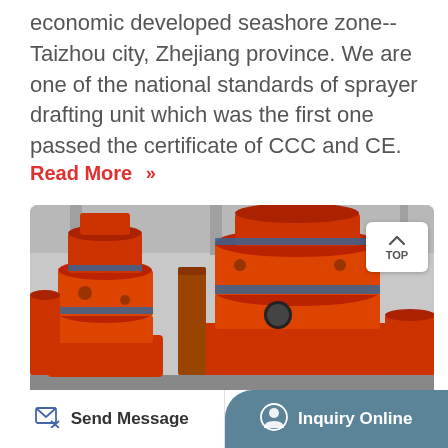economic developed seashore zone--Taizhou city, Zhejiang province. We are one of the national standards of sprayer drafting unit which was the first one passed the certificate of CCC and CE.
Read More »
[Figure (photo): Photo of large orange industrial grinding mill machines in a factory interior]
Send Message | Inquiry Online